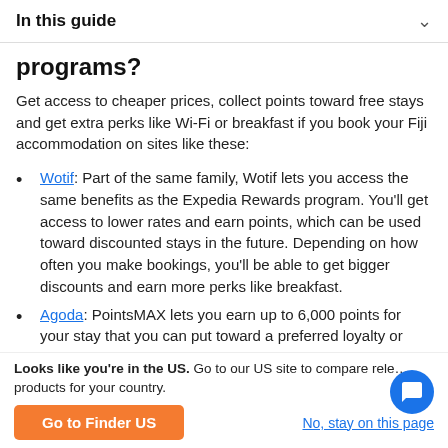In this guide
programs?
Get access to cheaper prices, collect points toward free stays and get extra perks like Wi-Fi or breakfast if you book your Fiji accommodation on sites like these:
Wotif: Part of the same family, Wotif lets you access the same benefits as the Expedia Rewards program. You'll get access to lower rates and earn points, which can be used toward discounted stays in the future. Depending on how often you make bookings, you'll be able to get bigger discounts and earn more perks like breakfast.
Agoda: PointsMAX lets you earn up to 6,000 points for your stay that you can put toward a preferred loyalty or
Looks like you're in the US. Go to our US site to compare rele… products for your country.
Go to Finder US
No, stay on this page